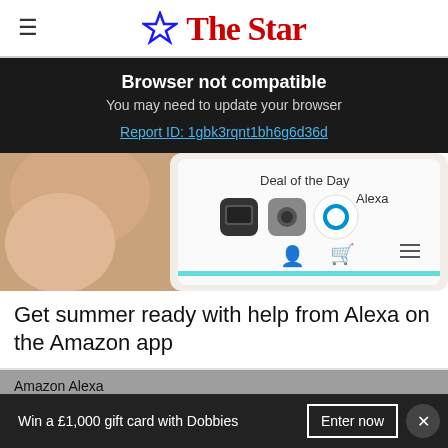The Star
Browser not compatible
You may need to update your browser
Report ID: 1gbk3rqnt1bh6g6d36d
[Figure (photo): Close-up of a hand holding a smartphone showing the Amazon app with 'Deal of the Day' and Alexa interface visible]
Get summer ready with help from Alexa on the Amazon app
Amazon Alexa
Win a £1,000 gift card with Dobbies   Enter now